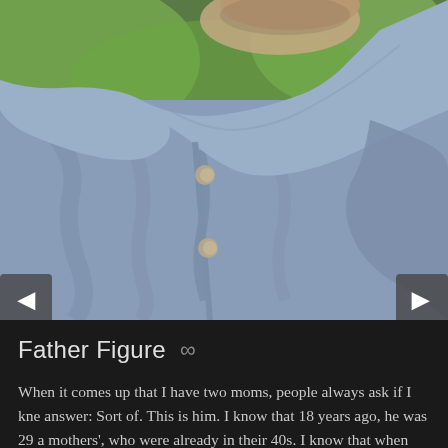[Figure (photo): Close-up photograph of an older man's torso wearing a light blue/grey button-up shirt, with a blurred green background. Navigation arrows visible on left and right sides.]
Father Figure ∞
When it comes up that I have two moms, people always ask if I kne answer: Sort of. This is him. I know that 18 years ago, he was 29 a mothers', who were already in their 40s. I know that when they ask child, he said yes. I also know that he's been around most of my lif and grade school graduations — but not really hands-on. I know th stepmom and that he loves Lorna Doone cookies, Nilla Wafers, an know much about his life before me. I don't know much about h